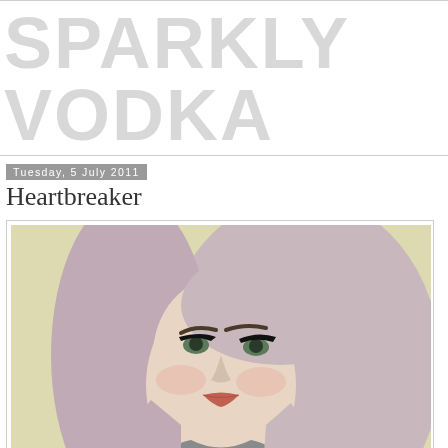SPARKLY VODKA
Tuesday, 5 July 2011
Heartbreaker
[Figure (photo): A young woman with long light blonde/pink-tinted hair, dark eyebrows, cat-eye eyeliner, wearing a grey top, posed against a cream/yellow background, looking slightly off-camera with a serious expression and coral-pink lips.]